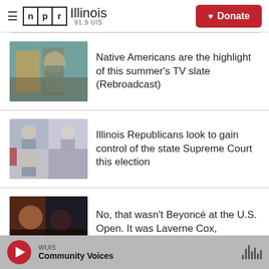NPR Illinois 91.9 UIS | Donate
Native Americans are the highlight of this summer's TV slate (Rebroadcast)
Illinois Republicans look to gain control of the state Supreme Court this election
No, that wasn't Beyoncé at the U.S. Open. It was Laverne Cox,
WUIS Community Voices